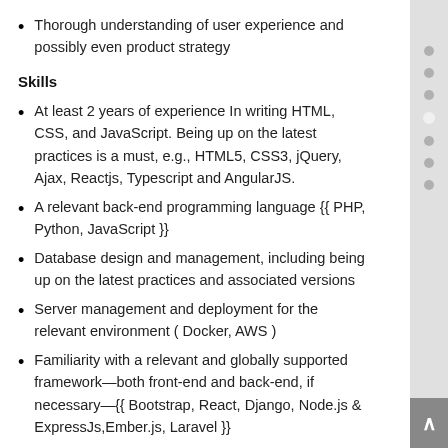Thorough understanding of user experience and possibly even product strategy
Skills
At least 2 years of experience In writing HTML, CSS, and JavaScript. Being up on the latest practices is a must, e.g., HTML5, CSS3, jQuery, Ajax, Reactjs, Typescript and AngularJS.
A relevant back-end programming language {{ PHP, Python, JavaScript }}
Database design and management, including being up on the latest practices and associated versions
Server management and deployment for the relevant environment ( Docker, AWS )
Familiarity with a relevant and globally supported framework—both front-end and back-end, if necessary—{{ Bootstrap, React, Django, Node.js & ExpressJs,Ember.js, Laravel }}
Ideally, familiarity with CSS preprocessors, bundlers, and